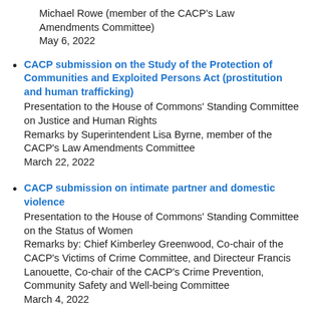Michael Rowe (member of the CACP's Law Amendments Committee)
May 6, 2022
CACP submission on the Study of the Protection of Communities and Exploited Persons Act (prostitution and human trafficking)
Presentation to the House of Commons' Standing Committee on Justice and Human Rights
Remarks by Superintendent Lisa Byrne, member of the CACP's Law Amendments Committee
March 22, 2022
CACP submission on intimate partner and domestic violence
Presentation to the House of Commons' Standing Committee on the Status of Women
Remarks by: Chief Kimberley Greenwood, Co-chair of the CACP's Victims of Crime Committee, and Directeur Francis Lanouette, Co-chair of the CACP's Crime Prevention, Community Safety and Well-being Committee
March 4, 2022